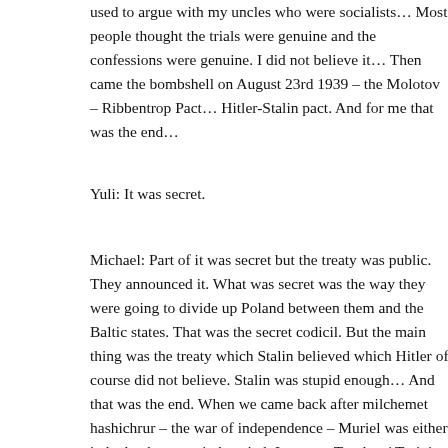used to argue with my uncles who were socialists… Most people thought the trials were genuine and the confessions were genuine. I did not believe it… Then came the bombshell on August 23rd 1939 – the Molotov – Ribbentrop Pact… Hitler-Stalin pact. And for me that was the end…
Yuli: It was secret.
Michael: Part of it was secret but the treaty was public. They announced it. What was secret was the way they were going to divide up Poland between them and the Baltic states. That was the secret codicil. But the main thing was the treaty which Stalin believed which Hitler of course did not believe. Stalin was stupid enough… And that was the end. When we came back after milchemet hashichrur – the war of independence – Muriel was either in bed at home or in hospital, I went to Teachers' Training College, about 400 men there. Of the 400 men, about 30 were Jews. Of the 30 Jews, 28 were members of the Communist Party. I and one other were not. He was Mapai and I was anti-Soviet. I had tremendous arguments with them. Because we were doing it in one year instead of normally three years we had to undertake to do a job when we came out from the college and started work as teachers. I thought that I would be teaching mathematics because that that had been my major subject at the